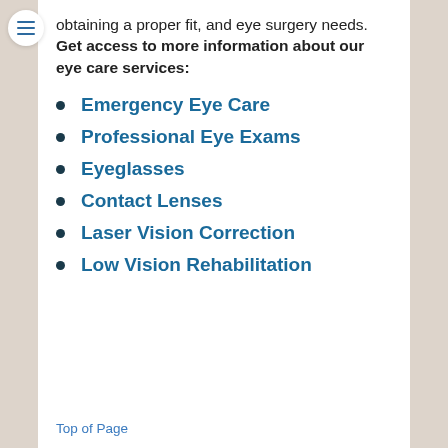obtaining a proper fit, and eye surgery needs. Get access to more information about our eye care services:
Emergency Eye Care
Professional Eye Exams
Eyeglasses
Contact Lenses
Laser Vision Correction
Low Vision Rehabilitation
Top of Page